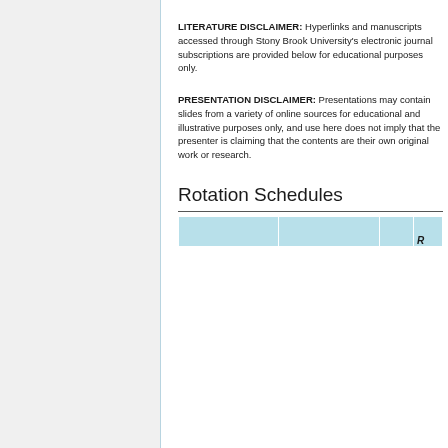LITERATURE DISCLAIMER: Hyperlinks and manuscripts accessed through Stony Brook University's electronic journal subscriptions are provided below for educational purposes only.
PRESENTATION DISCLAIMER: Presentations may contain slides from a variety of online sources for educational and illustrative purposes only, and use here does not imply that the presenter is claiming that the contents are their own original work or research.
Rotation Schedules
|  |  |  |  |